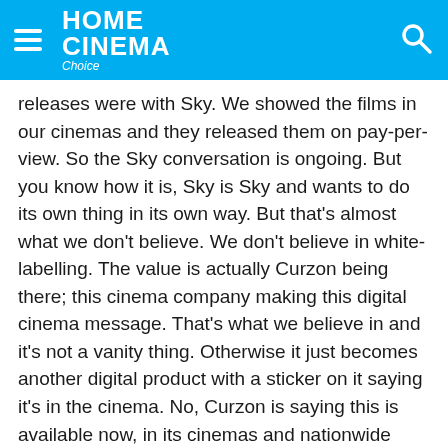HOME CINEMA Choice
releases were with Sky. We showed the films in our cinemas and they released them on pay-per-view. So the Sky conversation is ongoing. But you know how it is, Sky is Sky and wants to do its own thing in its own way. But that's almost what we don't believe. We don't believe in white-labelling. The value is actually Curzon being there; this cinema company making this digital cinema message. That's what we believe in and it's not a vanity thing. Otherwise it just becomes another digital product with a sticker on it saying it's in the cinema. No, Curzon is saying this is available now, in its cinemas and nationwide through Curzon Home Cinema.
What proportion of purchases on Curzon Home